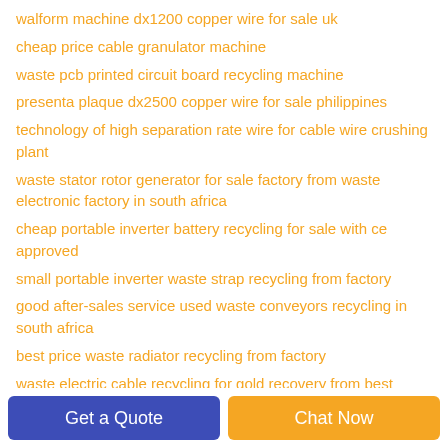walform machine dx1200 copper wire for sale uk
cheap price cable granulator machine
waste pcb printed circuit board recycling machine
presenta plaque dx2500 copper wire for sale philippines
technology of high separation rate wire for cable wire crushing plant
waste stator rotor generator for sale factory from waste electronic factory in south africa
cheap portable inverter battery recycling for sale with ce approved
small portable inverter waste strap recycling from factory
good after-sales service used waste conveyors recycling in south africa
best price waste radiator recycling from factory
waste electric cable recycling for gold recovery from best
Get a Quote
Chat Now